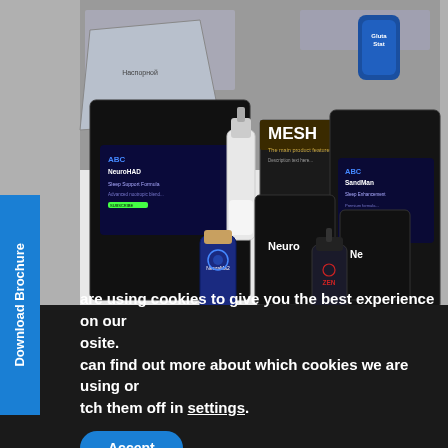[Figure (photo): Product photo showing several supplement/health product packages and bottles on a white surface. Visible products include black mylar bags labeled 'ABC NeuroHAD', 'ABC SandMan', black packaging labeled 'Neuro', 'MESH Nebul' (gold/black box), blue bottle 'NeuraMa2', a nasal spray bottle, and a dark dropper bottle labeled 'ZEN'. Background shows gray/silver storage shelving and a blue bottle 'GlutaStat'.]
Download Brochure
are using cookies to give you the best experience on our osite. can find out more about which cookies we are using or tch them off in settings.
Accept